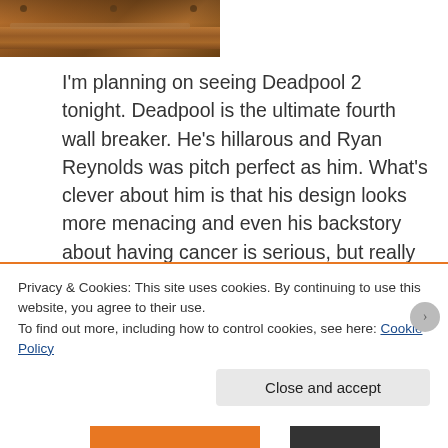[Figure (photo): Partial cropped photo of a metal structure or bridge beam, brownish-orange colored metal with bolts visible, seen from below/side angle]
I'm planning on seeing Deadpool 2 tonight. Deadpool is the ultimate fourth wall breaker. He's hillarous and Ryan Reynolds was pitch perfect as him. What's clever about him is that his design looks more menacing and even his backstory about having cancer is serious, but really he's a comedic character. Let us never speak of what happened to him in 2009.
Privacy & Cookies: This site uses cookies. By continuing to use this website, you agree to their use.
To find out more, including how to control cookies, see here: Cookie Policy